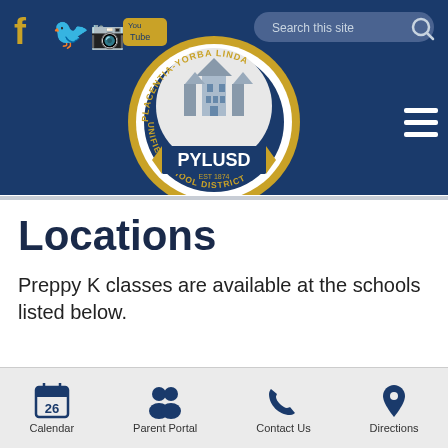[Figure (logo): PYLUSD Placentia-Yorba Linda Unified School District logo with social media icons (Facebook, Twitter, Instagram, YouTube), search bar, and hamburger menu on dark navy header]
Locations
Preppy K classes are available at the schools listed below.
Calendar | Parent Portal | Contact Us | Directions